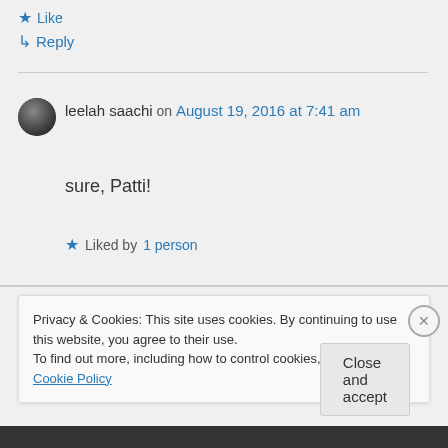★ Like
↳ Reply
leelah saachi on August 19, 2016 at 7:41 am
sure, Patti!
★ Liked by 1 person
Privacy & Cookies: This site uses cookies. By continuing to use this website, you agree to their use.
To find out more, including how to control cookies, see here: Cookie Policy
Close and accept